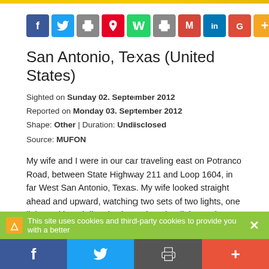[Figure (other): Social sharing icon buttons: Facebook, Twitter, Print, Pinterest, WhatsApp, Fax/Print, Gmail, LinkedIn, Google+, More]
San Antonio, Texas (United States)
Sighted on Sunday 02. September 2012
Reported on Monday 03. September 2012
Shape: Other | Duration: Undisclosed
Source: MUFON
My wife and I were in our car traveling east on Potranco Road, between State Highway 211 and Loop 1604, in far West San Antonio, Texas. My wife looked straight ahead and upward, watching two sets of two lights, one light positioned directly above the other light, as they traveled toward us, appearing to be maybe 1,000 feet high. She asked me what the lights were and I told her it was maybe an airplane steeply banking. However, the lights were blueish white and not blinking. So, I pulled the car over and stopped. We stepped out of the car and watched them approach. Without a sound, one set of lights followed the other set and flew over us. They then turned toward the north after they passed over. They seemed to pick up speed and moved toward a third set of two
This site uses cookies and third-party cookies to provide you with a better
[Figure (other): Bottom social sharing bar: Facebook (blue), Twitter (light blue), Print/share (dark grey), More/plus (red-orange)]